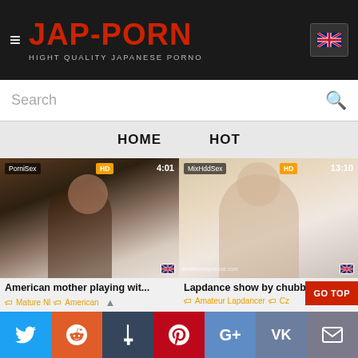JAP-PORN — HIGHT QUALITY JAPANESE PORNO
Search
HOME  HOT
[Figure (screenshot): Video thumbnail: American mother playing with herself. Source: PorniSex. HD, 4:01. Tags: Mature Nl, American]
[Figure (screenshot): Video thumbnail: Lapdance show by chubby cz... Source: MixHddSex. HD, 13:10. Tags: Amateur Lapdancer, Cz...]
[Figure (screenshot): Video thumbnail bottom left. Source: MixHddSex. HD, 12:11.]
[Figure (screenshot): Video thumbnail bottom right. Source: XXXesex. 6:15.]